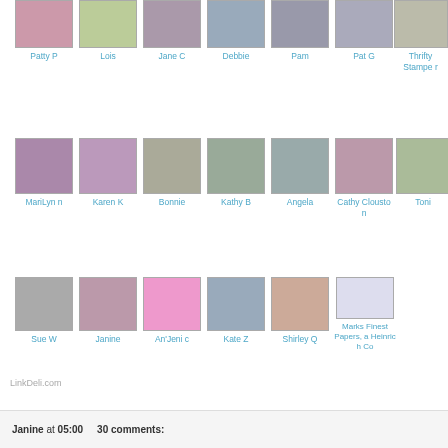[Figure (photo): Row of user avatars: Patty P, Lois, Jane C, Debbie, Pam, Pat G, Thrifty Stamper]
[Figure (photo): Row of user avatars: MariLynn, Karen K, Bonnie, Kathy B, Angela, Cathy Clouston, Toni]
[Figure (photo): Row of user avatars: Sue W, Janine, An'Jenic, Kate Z, Shirley Q, Marks Finest Papers a Heinrich Co]
LinkDeli.com
Janine at 05:00     30 comments: